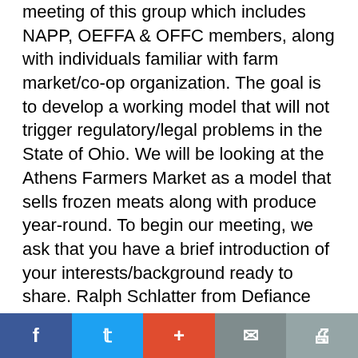meeting of this group which includes NAPP, OEFFA & OFFC members, along with individuals familiar with farm market/co-op organization. The goal is to develop a working model that will not trigger regulatory/legal problems in the State of Ohio. We will be looking at the Athens Farmers Market as a model that sells frozen meats along with produce year-round. To begin our meeting, we ask that you have a brief introduction of your interests/background ready to share. Ralph Schlatter from Defiance has been active with farmers groups and is an advocate of Raw Milk sales. Donita Anderson of the Union Market in Shaker Hts. belongs to a new
f | t | + | mail | print